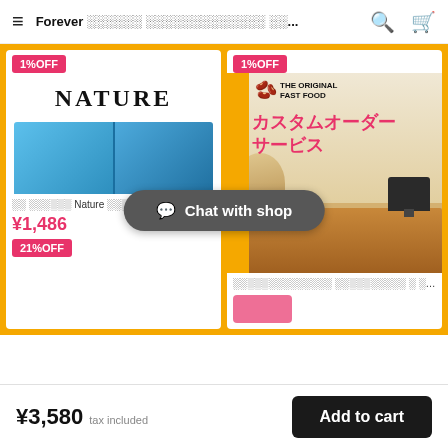Forever ░░░░░░ ░░░░░░░░░░░░░ ░░...
[Figure (screenshot): Left product card showing NATURE text and blue sofa image with 1%OFF badge, price ¥1,486, 21%OFF badge]
[Figure (screenshot): Right product card showing fast food office image with カスタムオーダーサービス text and 1%OFF badge]
Chat with shop
¥3,580 tax included
Add to cart